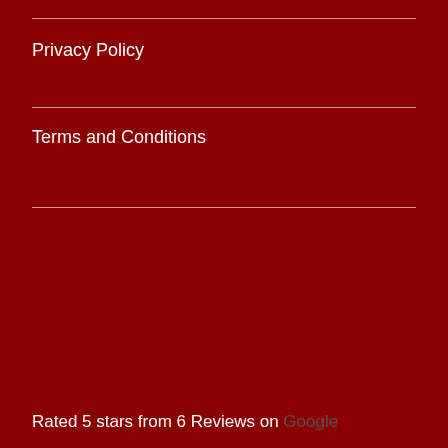Privacy Policy
Terms and Conditions
Rated 5 stars from 6 Reviews on Google